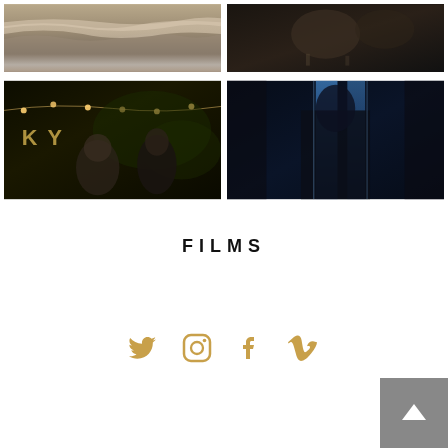[Figure (photo): Beach shoreline with waves, sandy beach scene, top-left film still]
[Figure (photo): Dark scene with two people, dim indoor lighting, top-right film still]
[Figure (photo): Night party scene with string lights, letter decorations KY, woman in foreground, bottom-left film still]
[Figure (photo): Dark blue lit scene, figure in blue-lit room, bottom-right film still]
FILMS
[Figure (infographic): Social media icons: Twitter, Instagram, Facebook, Vimeo in gold/amber color]
[Figure (other): Back to top button, grey square with white upward arrow, bottom right corner]